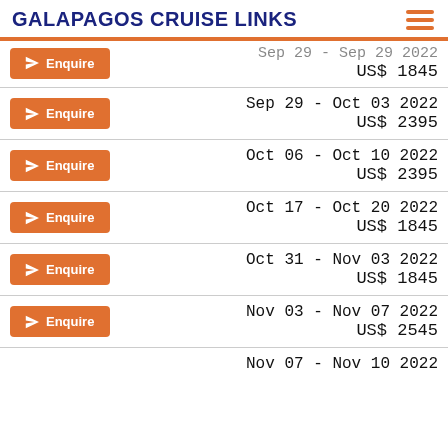GALAPAGOS CRUISE LINKS
Sep 29 - Sep 29 2022 | US$ 1845
Sep 29 - Oct 03 2022 | US$ 2395
Oct 06 - Oct 10 2022 | US$ 2395
Oct 17 - Oct 20 2022 | US$ 1845
Oct 31 - Nov 03 2022 | US$ 1845
Nov 03 - Nov 07 2022 | US$ 2545
Nov 07 - Nov 10 2022